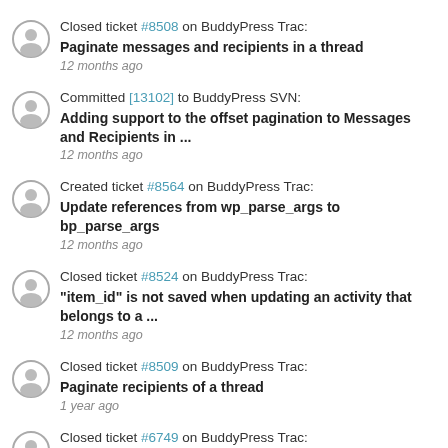Closed ticket #8508 on BuddyPress Trac: Paginate messages and recipients in a thread — 12 months ago
Committed [13102] to BuddyPress SVN: Adding support to the offset pagination to Messages and Recipients in ... — 12 months ago
Created ticket #8564 on BuddyPress Trac: Update references from wp_parse_args to bp_parse_args — 12 months ago
Closed ticket #8524 on BuddyPress Trac: "item_id" is not saved when updating an activity that belongs to a ... — 12 months ago
Closed ticket #8509 on BuddyPress Trac: Paginate recipients of a thread — 1 year ago
Closed ticket #6749 on BuddyPress Trac: